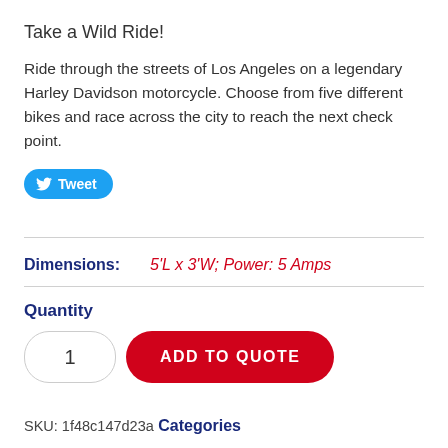Take a Wild Ride!
Ride through the streets of Los Angeles on a legendary Harley Davidson motorcycle. Choose from five different bikes and race across the city to reach the next check point.
Tweet
Dimensions: 5'L x 3'W; Power: 5 Amps
Quantity
1   ADD TO QUOTE
SKU: 1f48c147d23a
Categories